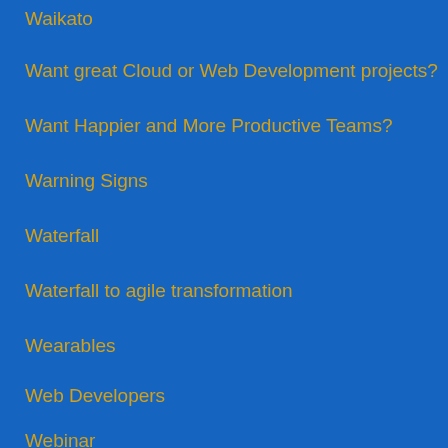Waikato
Want great Cloud or Web Development projects?
Want Happier and More Productive Teams?
Warning Signs
Waterfall
Waterfall to agile transformation
Wearables
Web Developers
Webinar
Wellington